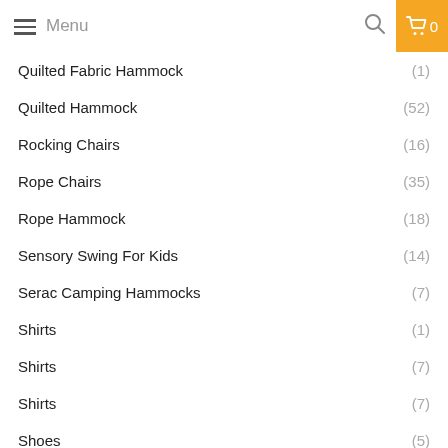Menu
Quilted Fabric Hammock (1)
Quilted Hammock (52)
Rocking Chairs (16)
Rope Chairs (35)
Rope Hammock (18)
Sensory Swing For Kids (14)
Serac Camping Hammocks (7)
Shirts (1)
Shirts (7)
Shirts (7)
Shoes (5)
Shoes (1)